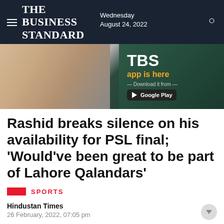The Business Standard — Wednesday August 24, 2022
[Figure (screenshot): Advertisement banner for The Business Standard (TBS) mobile app, showing a hand holding a phone with the TBS app open, and text 'TBS app is here — Download it from — Google Play']
Rashid breaks silence on his availability for PSL final; 'Would've been great to be part of Lahore Qalandars'
SPORTS
Hindustan Times
26 February, 2022, 07:05 pm